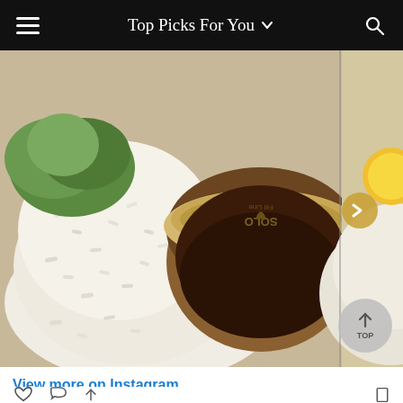Top Picks For You
[Figure (photo): Close-up food photo showing white rice, fried chicken pieces with crispy coating, a small plastic sauce cup (SOLO brand), and green lettuce. A second image partially visible on the right shows more rice with a yellow egg.]
View more on Instagram